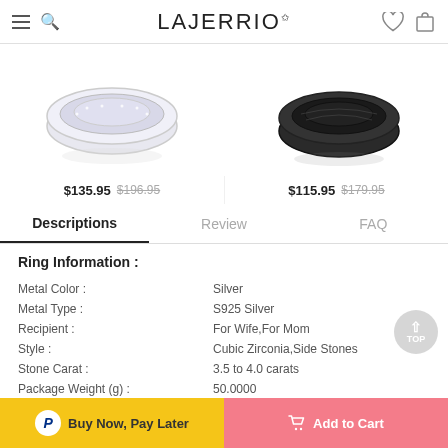LAJERRIO
[Figure (photo): Two product ring photos side by side: left is a silver diamond ring, right is a black ring]
$135.95 $196.95   $115.95 $179.95
Descriptions | Review | FAQ
Ring Information :
| Attribute | Value |
| --- | --- |
| Metal Color : | Silver |
| Metal Type : | S925 Silver |
| Recipient : | For Wife,For Mom |
| Style : | Cubic Zirconia,Side Stones |
| Stone Carat : | 3.5 to 4.0 carats |
| Package Weight (g) : | 50.0000 |
Buy Now, Pay Later   Add to Cart